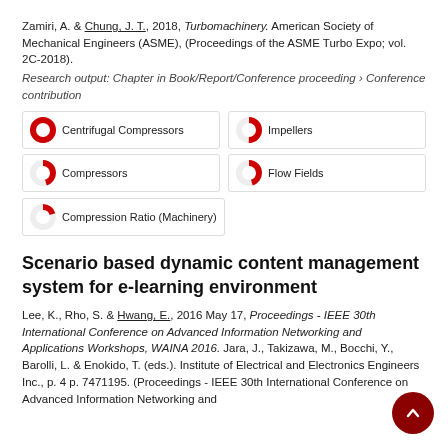Zamiri, A. & Chung, J. T., 2018, Turbomachinery. American Society of Mechanical Engineers (ASME), (Proceedings of the ASME Turbo Expo; vol. 2C-2018).
Research output: Chapter in Book/Report/Conference proceeding › Conference contribution
[Figure (infographic): Five keyword badges with donut/pie percentage indicators: Centrifugal Compressors (~100%), Impellers (~50%), Compressors (~45%), Flow Fields (~45%), Compression Ratio (Machinery) (~20%)]
Scenario based dynamic content management system for e-learning environment
Lee, K., Rho, S. & Hwang, E., 2016 May 17, Proceedings - IEEE 30th International Conference on Advanced Information Networking and Applications Workshops, WAINA 2016. Jara, J., Takizawa, M., Bocchi, Y., Barolli, L. & Enokido, T. (eds.). Institute of Electrical and Electronics Engineers Inc., p. 4 p. 7471195. (Proceedings - IEEE 30th International Conference on Advanced Information Networking and